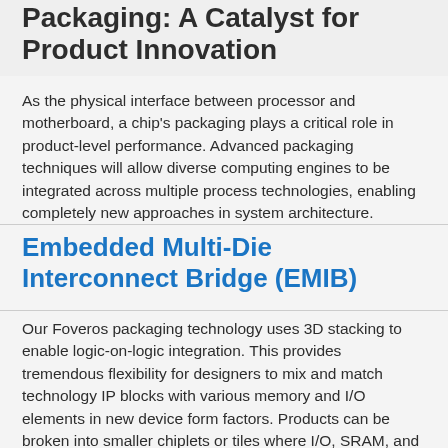Packaging: A Catalyst for Product Innovation
As the physical interface between processor and motherboard, a chip's packaging plays a critical role in product-level performance. Advanced packaging techniques will allow diverse computing engines to be integrated across multiple process technologies, enabling completely new approaches in system architecture.
Embedded Multi-Die Interconnect Bridge (EMIB)
Our Foveros packaging technology uses 3D stacking to enable logic-on-logic integration. This provides tremendous flexibility for designers to mix and match technology IP blocks with various memory and I/O elements in new device form factors. Products can be broken into smaller chiplets or tiles where I/O, SRAM, and power delivery circuits are fabricated in a base die and high-performance logic chiplets or tiles are stacked on